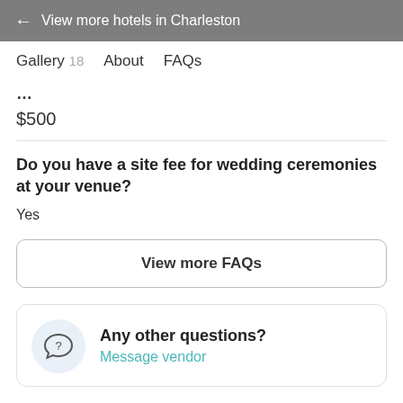← View more hotels in Charleston
Gallery 18   About   FAQs
$500
Do you have a site fee for wedding ceremonies at your venue?
Yes
View more FAQs
Any other questions?
Message vendor